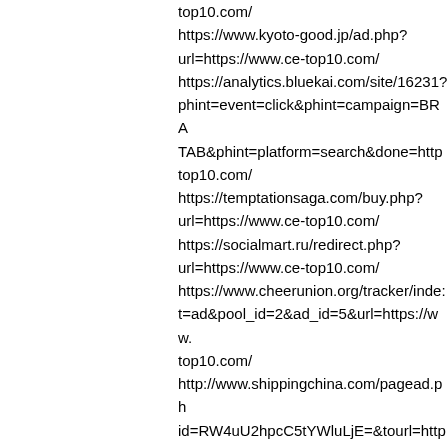top10.com/ https://www.kyoto-good.jp/ad.php?url=https://www.ce-top10.com/ https://analytics.bluekai.com/site/16231?phint=event=click&phint=campaign=BRA TAB&phint=platform=search&done=http top10.com/ https://temptationsaga.com/buy.php?url=https://www.ce-top10.com/ https://socialmart.ru/redirect.php?url=https://www.ce-top10.com/ https://www.cheerunion.org/tracker/index t=ad&pool_id=2&ad_id=5&url=https://www. top10.com/ http://www.shippingchina.com/pagead.ph id=RW4uU2hpcC5tYWluLjE=&tourl=https: top10.com/ https://meguro.keizai.biz/banner.php?